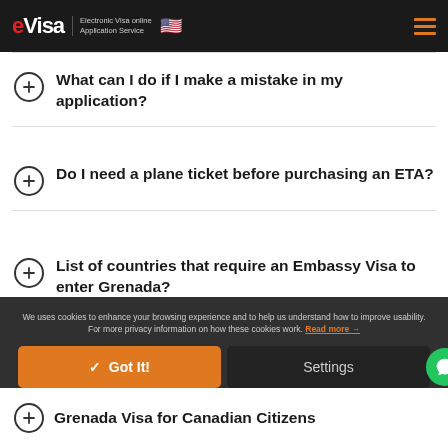eVisa | Electronic Visa online Application Service
What can I do if I make a mistake in my application?
Do I need a plane ticket before purchasing an ETA?
List of countries that require an Embassy Visa to enter Grenada?
We uses cookies to enhance your browsing experience and to help us understand how to improve usability. For more privacy information on how these cookies work. Read more →
Grenada Visa for Canadian Citizens